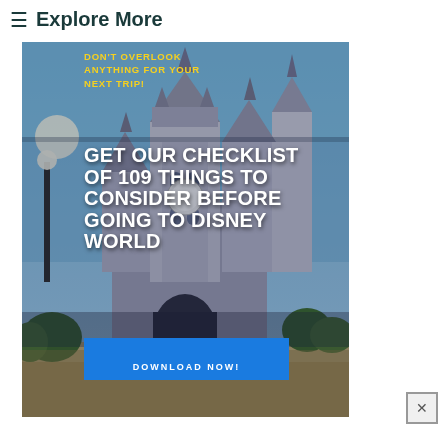≡ Explore More
[Figure (infographic): Disney World Cinderella Castle photo with overlay text advertising a checklist of 109 things to consider before going to Disney World, with a blue Download Now button]
DON'T OVERLOOK ANYTHING FOR YOUR NEXT TRIP!
GET OUR CHECKLIST OF 109 THINGS TO CONSIDER BEFORE GOING TO DISNEY WORLD
DOWNLOAD NOW!